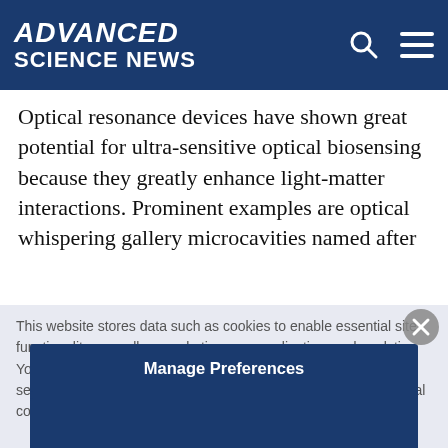ADVANCED SCIENCE NEWS
Optical resonance devices have shown great potential for ultra-sensitive optical biosensing because they greatly enhance light-matter interactions. Prominent examples are optical whispering gallery microcavities named after
This website stores data such as cookies to enable essential site functionality, as well as marketing, personalization, and analytics. You may change your settings at any time or accept the default settings. You may close this banner to continue with only essential cookies. Privacy Policy
Manage Preferences
Accept All
Reject All